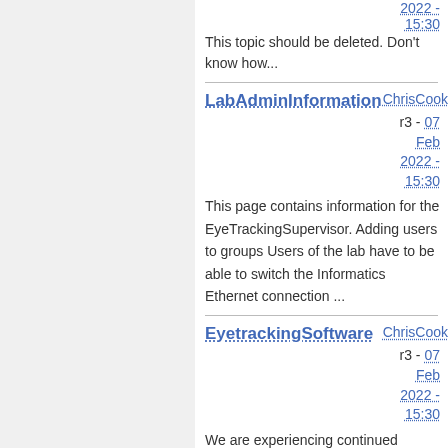This topic should be deleted. Don't know how...
LabAdminInformation  ChrisCook  r3 - 07 Feb 2022 - 15:30
This page contains information for the EyeTrackingSupervisor. Adding users to groups Users of the lab have to be able to switch the Informatics Ethernet connection ...
EyetrackingSoftware  ChrisCook  r3 - 07 Feb 2022 - 15:30
We are experiencing continued problems with SBTrack (aka